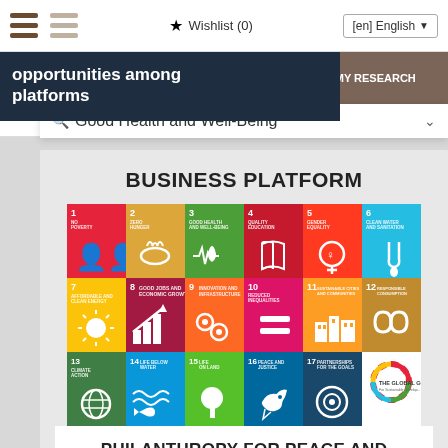Wishlist (0) | [en] English
(CLICK TO DEACTIVATE)
OF THE
ADD A FILTER TO MY RESEARCH
opportunities among platforms
Filters:
Good Health and Well-Being
BUSINESS PLATFORM
[Figure (infographic): UN Sustainable Development Goals grid showing all 17 SDG icons in colored squares, 6 columns wide, 3 rows, plus the Global Goals logo in corner]
PHILANTHROPY FOR PEACE AND